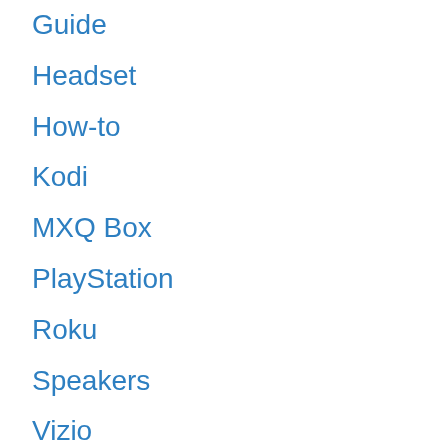Guide
Headset
How-to
Kodi
MXQ Box
PlayStation
Roku
Speakers
Vizio